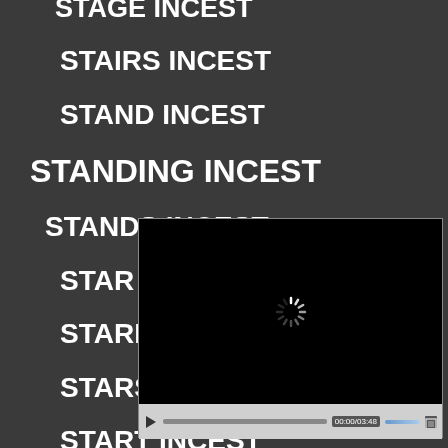STAGE INCEST
STAIRS INCEST
STAND INCEST
STANDING INCEST
STANDS INCEST
STAR INCEST
STARR INCEST
STARS INCEST
START INCEST
[Figure (screenshot): Video player overlay showing a black video frame with a loading spinner in the center, and video controls at the bottom showing play button, progress bar, time display 00:00/03:48, volume slider, and fullscreen button.]